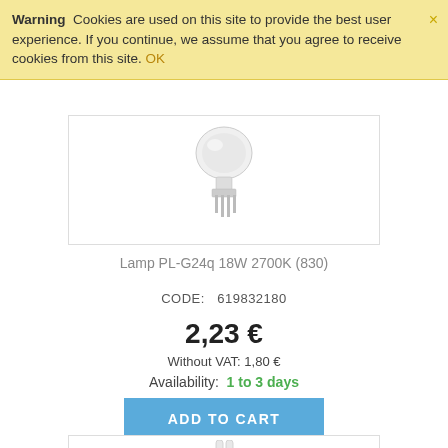Warning  Cookies are used on this site to provide the best user experience. If you continue, we assume that you agree to receive cookies from this site. OK
[Figure (photo): Product image of a compact fluorescent lamp PL-G24q 18W 2700K (830), white bulb with pins visible at bottom, on white background]
Lamp PL-G24q 18W 2700K (830)
CODE:   619832180
2,23 €
Without VAT: 1,80 €
Availability:   1 to 3 days
ADD TO CART
[Figure (photo): Bottom portion of another lamp product image, partially visible]